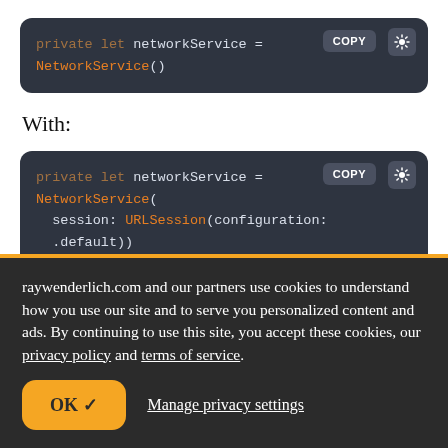[Figure (screenshot): Code block showing: private let networkService = NetworkService() with COPY button]
With:
[Figure (screenshot): Code block showing: private let networkService = NetworkService( session: URLSession(configuration: .default)) with COPY button]
raywenderlich.com and our partners use cookies to understand how you use our site and to serve you personalized content and ads. By continuing to use this site, you accept these cookies, our privacy policy and terms of service.
OK ✓   Manage privacy settings